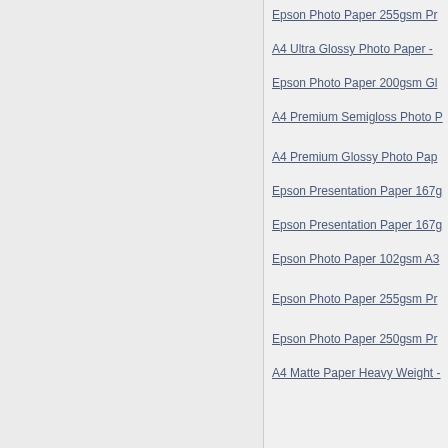Epson Photo Paper 255gsm Pr...
A4 Ultra Glossy Photo Paper - ...
Epson Photo Paper 200gsm Gl...
A4 Premium Semigloss Photo P...
A4 Premium Glossy Photo Pap...
Epson Presentation Paper 167g...
Epson Presentation Paper 167g...
Epson Photo Paper 102gsm A3...
Epson Photo Paper 255gsm Pr...
Epson Photo Paper 250gsm Pr...
A4 Matte Paper Heavy Weight -...